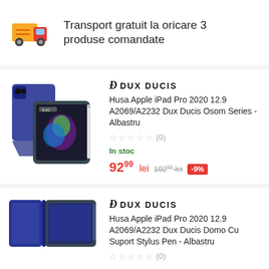[Figure (illustration): Delivery truck emoji icon (yellow and red cartoon truck)]
Transport gratuit la oricare 3 produse comandate
[Figure (photo): DUX DUCIS iPad case product image showing blue folding case with iPad Pro 2020]
DUX DUCIS Husa Apple iPad Pro 2020 12.9 A2069/A2232 Dux Ducis Osom Series - Albastru
(0)
In stoc
92⁹⁹ lei  102⁹⁹ lei  -9%
[Figure (photo): DUX DUCIS iPad case product image showing blue folio case with Stylus Pen support]
DUX DUCIS Husa Apple iPad Pro 2020 12.9 A2069/A2232 Dux Ducis Domo Cu Suport Stylus Pen - Albastru
(0)